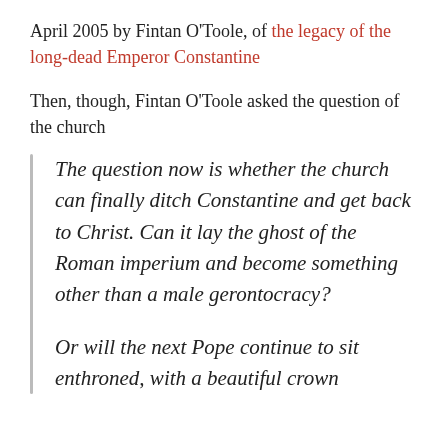April 2005 by Fintan O'Toole, of the legacy of the long-dead Emperor Constantine
Then, though, Fintan O'Toole asked the question of the church
The question now is whether the church can finally ditch Constantine and get back to Christ. Can it lay the ghost of the Roman imperium and become something other than a male gerontocracy?
Or will the next Pope continue to sit enthroned, with a beautiful crown